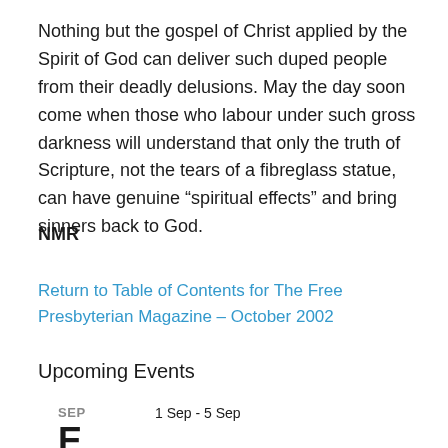Nothing but the gospel of Christ applied by the Spirit of God can deliver such duped people from their deadly delusions. May the day soon come when those who labour under such gross darkness will understand that only the truth of Scripture, not the tears of a fibreglass statue, can have genuine “spiritual effects” and bring sinners back to God.
NMR
Return to Table of Contents for The Free Presbyterian Magazine – October 2002
Upcoming Events
SEP    1 Sep - 5 Sep
E